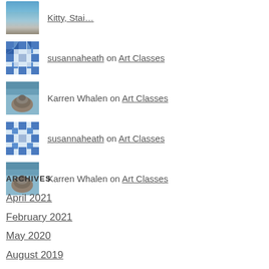Kitty, Stai… [avatar image]
susannaheath on Art Classes
Karren Whalen on Art Classes
susannaheath on Art Classes
Karren Whalen on Art Classes
ARCHIVES
April 2021
February 2021
May 2020
August 2019
April 2019